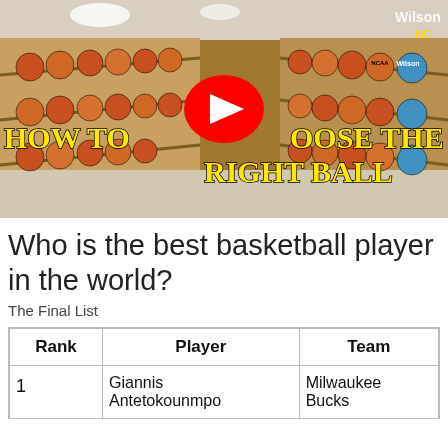[Figure (screenshot): YouTube video thumbnail showing basketball store shelves filled with basketballs. Bold yellow text overlay reads 'HOW TO CHOOSE THE RIGHT BALL' with a YouTube play button in the center.]
Who is the best basketball player in the world?
The Final List
| Rank | Player | Team |
| --- | --- | --- |
| 1 | Giannis Antetokounmpo | Milwaukee Bucks |